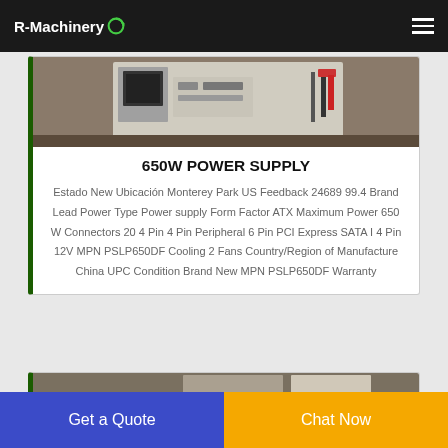R-Machinery
[Figure (photo): Photo of a power supply unit on a table with cables visible]
650W POWER SUPPLY
Estado New Ubicación Monterey Park US Feedback 24689 99.4 Brand Lead Power Type Power supply Form Factor ATX Maximum Power 650 W Connectors 20 4 Pin 4 Pin Peripheral 6 Pin PCI Express SATA I 4 Pin 12V MPN PSLP650DF Cooling 2 Fans Country/Region of Manufacture China UPC Condition Brand New MPN PSLP650DF Warranty
[Figure (photo): Partial view of another product card below]
Get a Quote
Chat Now